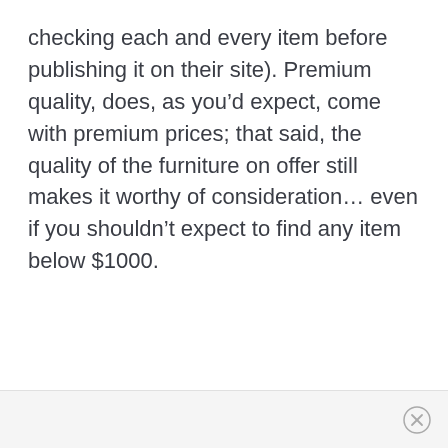checking each and every item before publishing it on their site). Premium quality, does, as you'd expect, come with premium prices; that said, the quality of the furniture on offer still makes it worthy of consideration… even if you shouldn't expect to find any item below $1000.